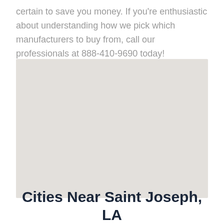certain to save you money. If you're enthusiastic about understanding how we pick which manufacturers to buy from, call our professionals at 888-410-9690 today!
[Figure (map): A blank light gray map placeholder image]
Cities Near Saint Joseph, LA